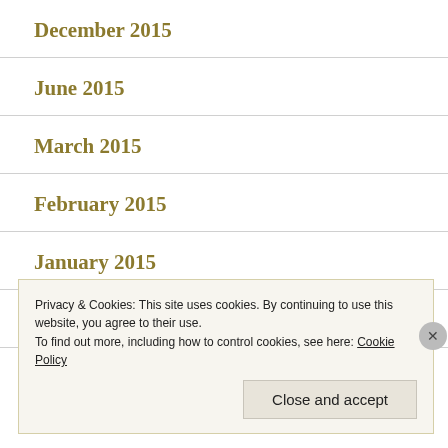December 2015
June 2015
March 2015
February 2015
January 2015
December 2014
Privacy & Cookies: This site uses cookies. By continuing to use this website, you agree to their use.
To find out more, including how to control cookies, see here: Cookie Policy